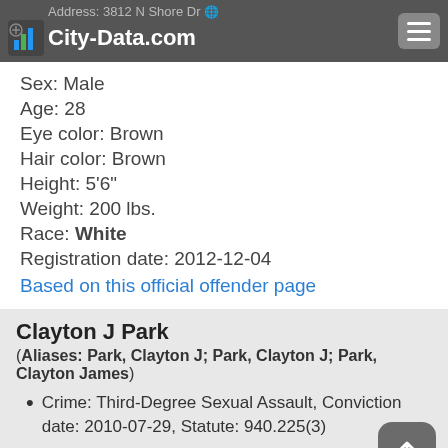City-Data.com — Address: 3812 N Shore Dr
Sex: Male
Age: 28
Eye color: Brown
Hair color: Brown
Height: 5'6"
Weight: 200 lbs.
Race: White
Registration date: 2012-12-04
Based on this official offender page
Clayton J Park
(Aliases: Park, Clayton J; Park, Clayton J; Park, Clayton James)
Crime: Third-Degree Sexual Assault, Conviction date: 2010-07-29, Statute: 940.225(3)
Address: 1422 Summit St
Zip Code: 54730